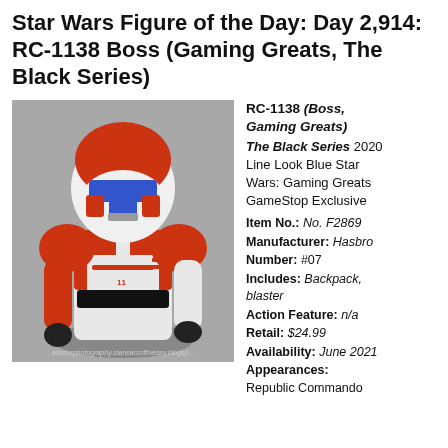Star Wars Figure of the Day: Day 2,914: RC-1138 Boss (Gaming Greats, The Black Series)
[Figure (photo): RC-1138 Boss action figure in red and white clone trooper armor with blue visor, displayed against a grey background]
RC-1138 (Boss, Gaming Greats) The Black Series 2020 Line Look Blue Star Wars: Gaming Greats GameStop Exclusive Item No.: No. F2869 Manufacturer: Hasbro Number: #07 Includes: Backpack, blaster Action Feature: n/a Retail: $24.99 Availability: June 2021 Appearances: Republic Commando